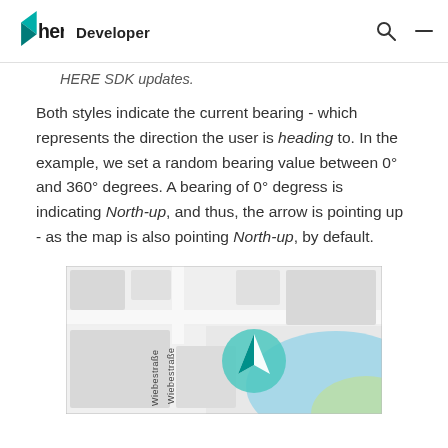here Developer
HERE SDK updates.
Both styles indicate the current bearing - which represents the direction the user is heading to. In the example, we set a random bearing value between 0° and 360° degrees. A bearing of 0° degress is indicating North-up, and thus, the arrow is pointing up - as the map is also pointing North-up, by default.
[Figure (map): A HERE map screenshot showing streets labeled 'Wiebestraße' with a circular teal navigation arrow marker pointing upper-left (North-up direction), and a blue river with green area in the lower right.]